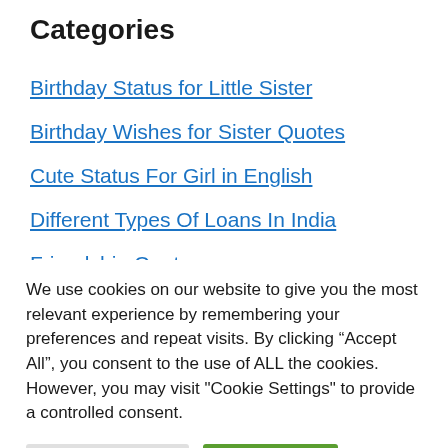Categories
Birthday Status for Little Sister
Birthday Wishes for Sister Quotes
Cute Status For Girl in English
Different Types Of Loans In India
Friendship Quotes
Good Morning
We use cookies on our website to give you the most relevant experience by remembering your preferences and repeat visits. By clicking “Accept All”, you consent to the use of ALL the cookies. However, you may visit "Cookie Settings" to provide a controlled consent.
Cookie Settings | Accept All